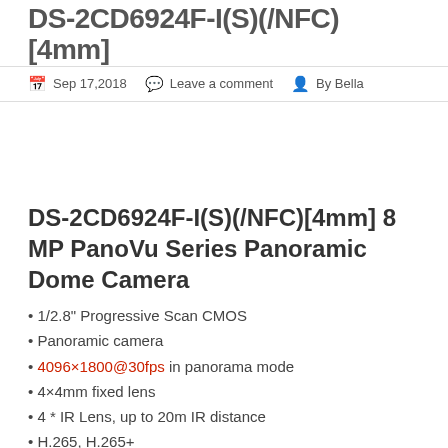DS-2CD6924F-I(S)(/NFC)[4mm]
Sep 17,2018  Leave a comment  By Bella
DS-2CD6924F-I(S)(/NFC)[4mm] 8 MP PanoVu Series Panoramic Dome Camera
1/2.8" Progressive Scan CMOS
Panoramic camera
4096×1800@30fps in panorama mode
4×4mm fixed lens
4 * IR Lens, up to 20m IR distance
H.265, H.265+
IP67